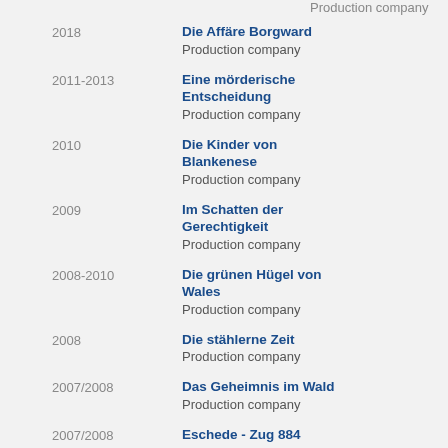Production company (partial top)
2018 — Die Affäre Borgward — Production company
2011-2013 — Eine mörderische Entscheidung — Production company
2010 — Die Kinder von Blankenese — Production company
2009 — Im Schatten der Gerechtigkeit — Production company
2008-2010 — Die grünen Hügel von Wales — Production company
2008 — Die stählerne Zeit — Production company
2007/2008 — Das Geheimnis im Wald — Production company
2007/2008 — Eschede - Zug 884 — Production company